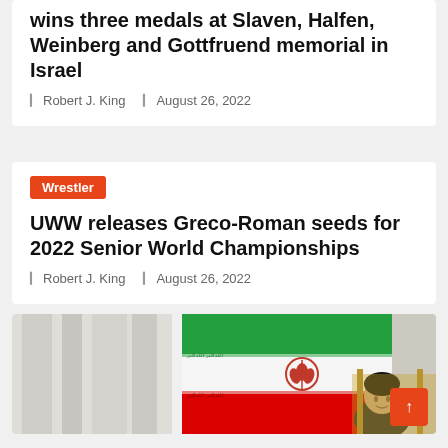wins three medals at Slaven, Halfen, Weinberg and Gottfruend memorial in Israel
Robert J. King   August 26, 2022
Wrestler
UWW releases Greco-Roman seeds for 2022 Senior World Championships
Robert J. King   August 26, 2022
[Figure (photo): Photo showing Iranian flag with green, white and red stripes and emblem, and a man in black turban seated at a golden chair.]